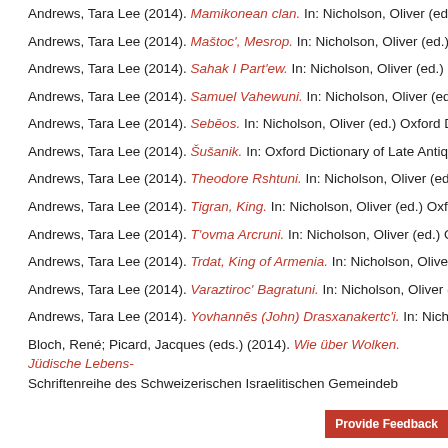Andrews, Tara Lee (2014). Mamikonean clan. In: Nicholson, Oliver (ed.) Oxford Di...
Andrews, Tara Lee (2014). Maštoc', Mesrop. In: Nicholson, Oliver (ed.) Oxford Dict...
Andrews, Tara Lee (2014). Sahak I Part'ew. In: Nicholson, Oliver (ed.) Oxford Dicti...
Andrews, Tara Lee (2014). Samuel Vahewuni. In: Nicholson, Oliver (ed.) Oxford Di...
Andrews, Tara Lee (2014). Sebēos. In: Nicholson, Oliver (ed.) Oxford Dictionary of...
Andrews, Tara Lee (2014). Šušanik. In: Oxford Dictionary of Late Antiquity. Oxford:...
Andrews, Tara Lee (2014). Theodore Rshtuni. In: Nicholson, Oliver (ed.) Oxford Di...
Andrews, Tara Lee (2014). Tigran, King. In: Nicholson, Oliver (ed.) Oxford Dictiona...
Andrews, Tara Lee (2014). T'ovma Arcruni. In: Nicholson, Oliver (ed.) Oxford Dicti...
Andrews, Tara Lee (2014). Trdat, King of Armenia. In: Nicholson, Oliver (ed.) Oxfo...
Andrews, Tara Lee (2014). Varaztiroc' Bagratuni. In: Nicholson, Oliver (ed.) Oxford...
Andrews, Tara Lee (2014). Yovhannēs (John) Drasxanakertc'i. In: Nicholson, Olive...
Bloch, René; Picard, Jacques (eds.) (2014). Wie über Wolken. Jüdische Lebens-... Schriftenreihe des Schweizerischen Israelitischen Gemeindeb...